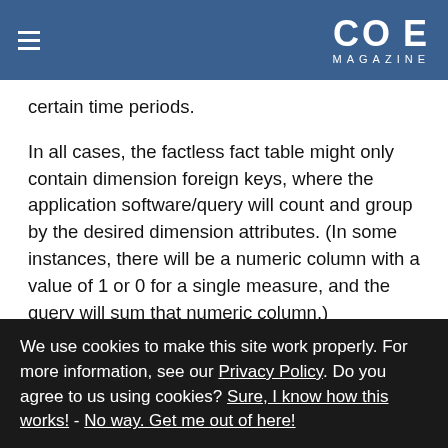CODE MAGAZINE
certain time periods.
In all cases, the factless fact table might only contain dimension foreign keys, where the application software/query will count and group by the desired dimension attributes. (In some instances, there will be a numeric column with a value of 1 or 0 for a single measure, and the query will sum that numeric column.)
So again, while not as glamorous as a fact table that
We use cookies to make this site work properly. For more information, see our Privacy Policy. Do you agree to us using cookies? Sure, I know how this works! - No way. Get me out of here!